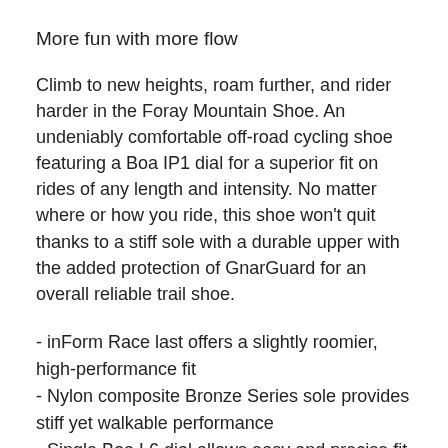More fun with more flow
Climb to new heights, roam further, and rider harder in the Foray Mountain Shoe. An undeniably comfortable off-road cycling shoe featuring a Boa IP1 dial for a superior fit on rides of any length and intensity. No matter where or how you ride, this shoe won't quit thanks to a stiff sole with a durable upper with the added protection of GnarGuard for an overall reliable trail shoe.
- inForm Race last offers a slightly roomier, high-performance fit
- Nylon composite Bronze Series sole provides stiff yet walkable performance
- Single Boa L6 dial allows easy and precise fit adjustments
- Tachyon rubber outsole allows great grip in all terrains
- Stiffness index 6 of 14
- Durable, GnarGuard rubberized coating protects against